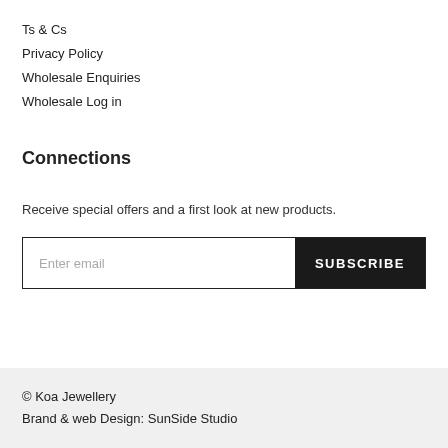Ts & Cs
Privacy Policy
Wholesale Enquiries
Wholesale Log in
Connections
Receive special offers and a first look at new products.
Enter email  SUBSCRIBE
© Koa Jewellery
Brand & web Design: SunSide Studio